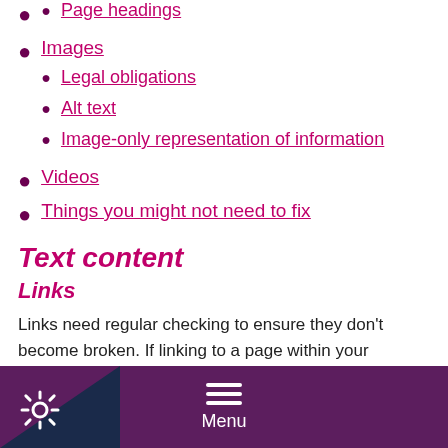Page headings
Images
Legal obligations
Alt text
Image-only representation of information
Videos
Things you might not need to fix
Text content
Links
Links need regular checking to ensure they don't become broken. If linking to a page within your website, use the built in link tool and select the page from what's displayed.
Menu